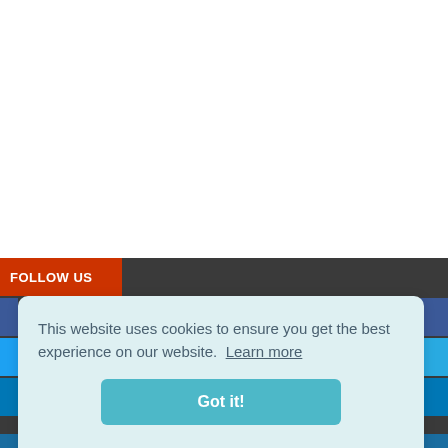FOLLOW US
This website uses cookies to ensure you get the best experience on our website.  Learn more
Got it!